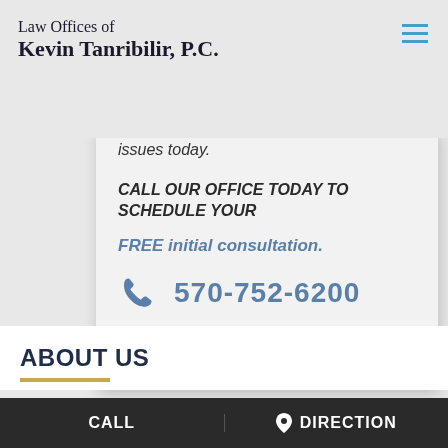Law Offices of Kevin Tanribilir, P.C.
issues today.
CALL OUR OFFICE TODAY TO SCHEDULE YOUR
FREE initial consultation.
570-752-6200
ABOUT US
CALL    DIRECTION